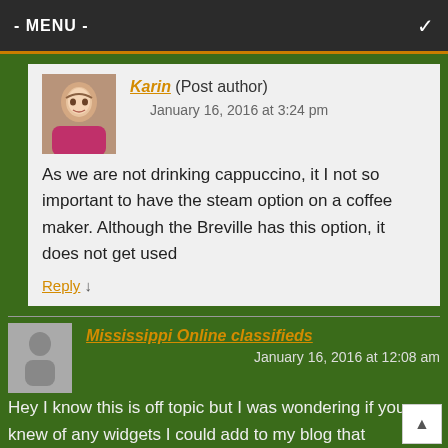- MENU -
Karin (Post author)
January 16, 2016 at 3:24 pm
As we are not drinking cappuccino, it I not so important to have the steam option on a coffee maker. Although the Breville has this option, it does not get used
Reply ↓
Mississippi Online classifieds
January 16, 2016 at 12:08 am
Hey I know this is off topic but I was wondering if you knew of any widgets I could add to my blog that automatically tweet my newest twitter updates. I've been looking for a plug-in like this for quite some time and was hoping